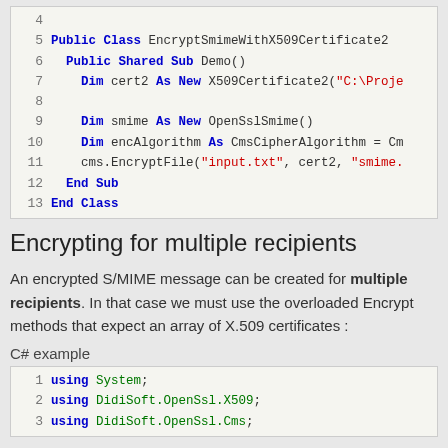[Figure (screenshot): Code block (VB.NET) showing lines 4-13: Public Class EncryptSmimeWithX509Certificate2, Public Shared Sub Demo(), Dim cert2 As New X509Certificate2(...), Dim smime As New OpenSslSmime(), Dim encAlgorithm As CmsCipherAlgorithm = Cm..., cms.EncryptFile("input.txt", cert2, "smime..."), End Sub, End Class]
Encrypting for multiple recipients
An encrypted S/MIME message can be created for multiple recipients. In that case we must use the overloaded Encrypt methods that expect an array of X.509 certificates :
C# example
[Figure (screenshot): Code block (C#) showing lines 1-3: using System; using DidiSoft.OpenSsl.X509; using DidiSoft.OpenSsl.Cms;]